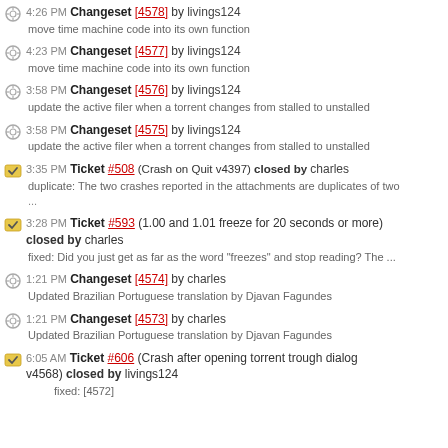4:26 PM Changeset [4578] by livings124 — move time machine code into its own function
4:23 PM Changeset [4577] by livings124 — move time machine code into its own function
3:58 PM Changeset [4576] by livings124 — update the active filer when a torrent changes from stalled to unstalled
3:58 PM Changeset [4575] by livings124 — update the active filer when a torrent changes from stalled to unstalled
3:35 PM Ticket #508 (Crash on Quit v4397) closed by charles — duplicate: The two crashes reported in the attachments are duplicates of two ...
3:28 PM Ticket #593 (1.00 and 1.01 freeze for 20 seconds or more) closed by charles — fixed: Did you just get as far as the word "freezes" and stop reading? The ...
1:21 PM Changeset [4574] by charles — Updated Brazilian Portuguese translation by Djavan Fagundes
1:21 PM Changeset [4573] by charles — Updated Brazilian Portuguese translation by Djavan Fagundes
6:05 AM Ticket #606 (Crash after opening torrent trough dialog v4568) closed by livings124 — fixed: [4572]